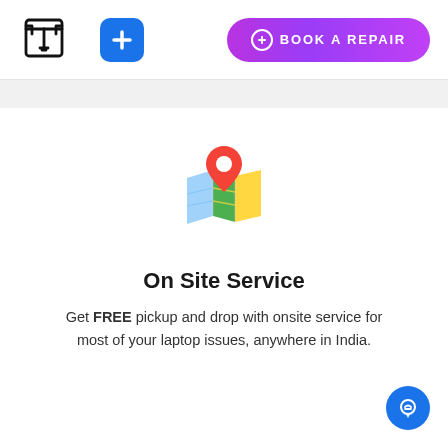[Figure (logo): Tech repair service logo with stylized T letter in bold outline style]
[Figure (illustration): Blue rounded square button with white plus sign]
[Figure (illustration): Purple gradient Book a Repair button with plus circle icon]
[Figure (illustration): Google Maps style map icon with red location pin on folded map]
On Site Service
Get FREE pickup and drop with onsite service for most of your laptop issues, anywhere in India.
[Figure (illustration): Blue circular chat/support button in bottom right corner]